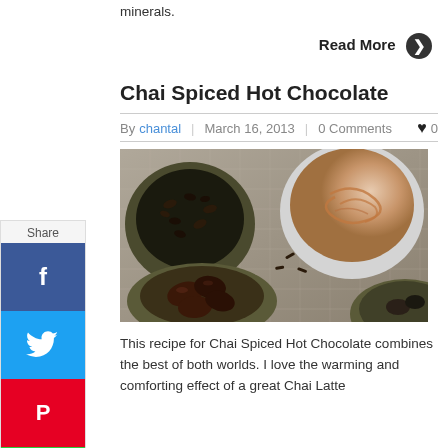minerals.
Read More ❯
[Figure (other): Share sidebar with Facebook, Twitter, Pinterest, and share buttons]
Chai Spiced Hot Chocolate
By chantal | March 16, 2013 | 0 Comments ♥ 0
[Figure (photo): Overhead photo of chai spiced hot chocolate in a white cup with latte art, surrounded by bowls of cacao nibs, dates, and other ingredients on a burlap surface]
This recipe for Chai Spiced Hot Chocolate combines the best of both worlds. I love the warming and comforting effect of a great Chai Latte